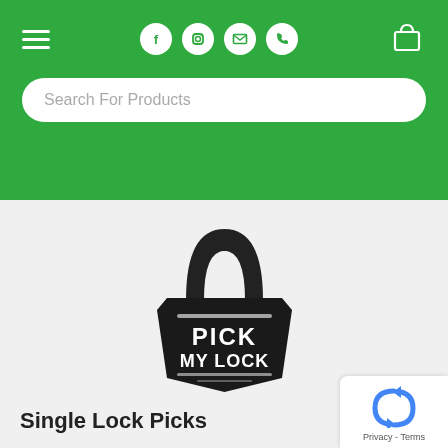Navigation header with hamburger menu, social icons (Facebook, Instagram, Email, Phone), and cart icon on green background
Search For Products
[Figure (logo): Pick My Lock logo: black padlock with shackle on top and pentagon-shaped body containing the text PICK MY LOCK in white bold letters]
Single Lock Picks